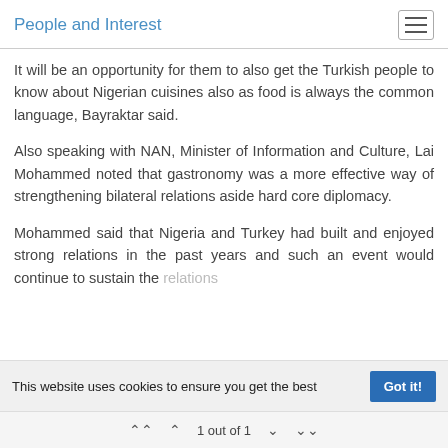People and Interest
It will be an opportunity for them to also get the Turkish people to know about Nigerian cuisines also as food is always the common language, Bayraktar said.
Also speaking with NAN, Minister of Information and Culture, Lai Mohammed noted that gastronomy was a more effective way of strengthening bilateral relations aside hard core diplomacy.
Mohammed said that Nigeria and Turkey had built and enjoyed strong relations in the past years and such an event would continue to sustain the relations
This website uses cookies to ensure you get the best
1 out of 1